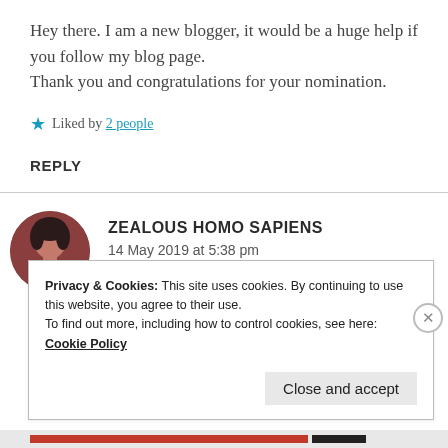Hey there. I am a new blogger, it would be a huge help if you follow my blog page.
Thank you and congratulations for your nomination.
★ Liked by 2 people
REPLY
ZEALOUS HOMO SAPIENS
14 May 2019 at 5:38 pm
Privacy & Cookies: This site uses cookies. By continuing to use this website, you agree to their use.
To find out more, including how to control cookies, see here: Cookie Policy
Close and accept